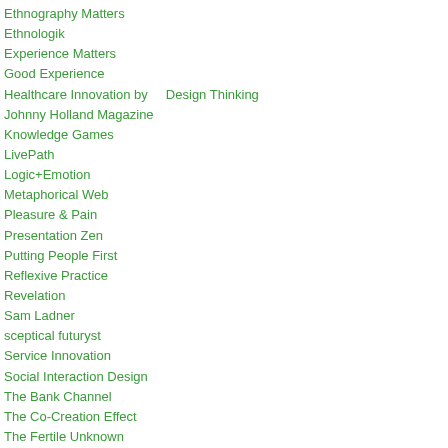Ethnography Matters
Ethnologik
Experience Matters
Good Experience
Healthcare Innovation by    Design Thinking
Johnny Holland Magazine
Knowledge Games
LivePath
Logic+Emotion
Metaphorical Web
Pleasure & Pain
Presentation Zen
Putting People First
Reflexive Practice
Revelation
Sam Ladner
sceptical futuryst
Service Innovation
Social Interaction Design
The Bank Channel
The Co-Creation Effect
The Fertile Unknown
Timo Arnall
Wireframes Magazine
Yanko Design